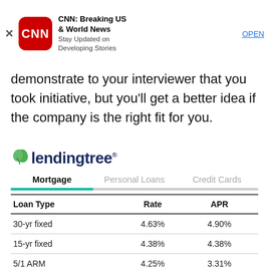[Figure (screenshot): CNN Breaking News app advertisement banner with red CNN logo icon, title 'CNN: Breaking US & World News', subtitle 'Stay Updated on Developing Stories', and blue OPEN button]
demonstrate to your interviewer that you took initiative, but you'll get a better idea if the company is the right fit for you.
[Figure (logo): LendingTree logo with green leaf icon and dark blue text 'lendingtree' with registered trademark symbol]
| Loan Type | Rate | APR |
| --- | --- | --- |
| 30-yr fixed | 4.63% | 4.90% |
| 15-yr fixed | 4.38% | 4.38% |
| 5/1 ARM | 4.25% | 3.31% |